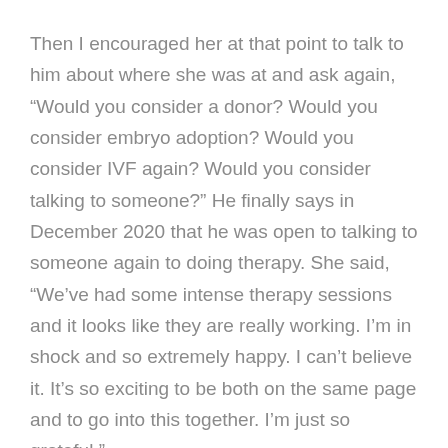Then I encouraged her at that point to talk to him about where she was at and ask again, “Would you consider a donor? Would you consider embryo adoption? Would you consider IVF again? Would you consider talking to someone?” He finally says in December 2020 that he was open to talking to someone again to doing therapy. She said, “We’ve had some intense therapy sessions and it looks like they are really working. I’m in shock and so extremely happy. I can’t believe it. It’s so exciting to be both on the same page and to go into this together. I’m just so grateful.”